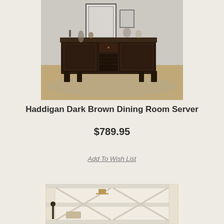[Figure (photo): Photo of Haddigan Dark Brown Dining Room Server — a dark espresso-finished wood sideboard with two cabinet doors, a center drawer, wine rack, and open bottom shelf, styled in a dining room setting with a patterned rug.]
Haddigan Dark Brown Dining Room Server
$789.95
Add To Wish List
[Figure (photo): Partial photo of a second furniture product — appears to be a white/cream bookcase or display unit with X-cross detail panels, partially visible at the bottom of the page.]